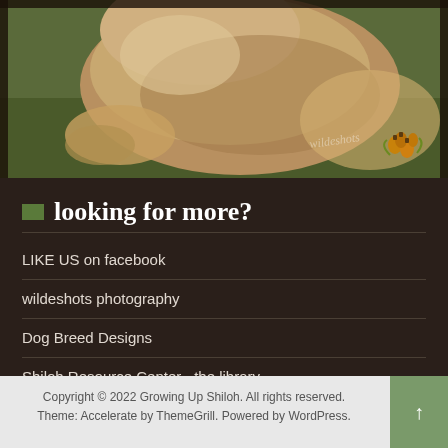[Figure (photo): A fluffy dog lying on grass, photographed outdoors. Watermark text 'wildeshots' visible. Acorn decoration in bottom right corner of photo.]
looking for more?
LIKE US on facebook
wildeshots photography
Dog Breed Designs
Shiloh Resource Center ~the library
SHOP the Shiloh Boutique
Copyright © 2022 Growing Up Shiloh. All rights reserved.
Theme: Accelerate by ThemeGrill. Powered by WordPress.